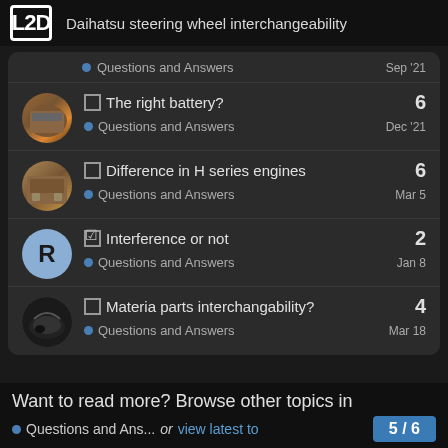L2D  Daihatsu steering wheel interchangeability
Questions and Answers  Sep '21
The right battery?  6  Questions and Answers  Dec '21
Difference in H series engines  6  Questions and Answers  Mar 5
Interference or not  2  Questions and Answers  Jan 8
Materia parts interchangability?  4  Questions and Answers  Mar 18
Want to read more? Browse other topics in
Questions and Ans...  or  view latest to
5 / 6